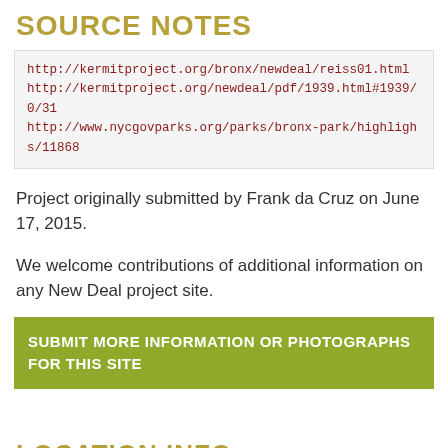SOURCE NOTES
http://kermitproject.org/bronx/newdeal/reiss01.html
http://kermitproject.org/newdeal/pdf/1939.html#1939/0/31
http://www.nycgovparks.org/parks/bronx-park/highlights/11868
Project originally submitted by Frank da Cruz on June 17, 2015.
We welcome contributions of additional information on any New Deal project site.
SUBMIT MORE INFORMATION OR PHOTOGRAPHS FOR THIS SITE
LOCATION INFO
[Figure (map): Partial map strip showing location info map thumbnail]